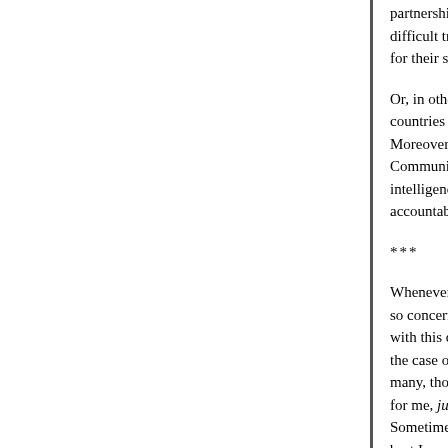partnerships with countries that were economically difficult transitional periods in their history, and de for their strategic development."
Or, in other words, we chose to pick on weaker co countries that had no earthly reason to do this oth Moreover, Poland and Romania are countries tha Communist rule, and the report makes clear that intelligence services, which have resisted civilian accountability.
***
Whenever I write a post like this, someone pops u so concerned about the fate of terrorists. In many with this question: many of the people we have he the case of the program described in this report, h many, though not all, were terrorists. So it's worth for me, just about feeling badly for the people we Sometimes I feel very badly for them, especially i best I can tell, completely innocent; but feeling ba Because there's another motivation at work, name the desire that it be the best country it can be.
There are some things we, as individuals, should